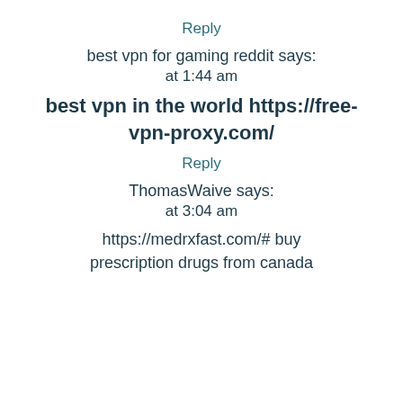Reply
best vpn for gaming reddit says:
at 1:44 am
best vpn in the world https://free-vpn-proxy.com/
Reply
ThomasWaive says:
at 3:04 am
https://medrxfast.com/# buy prescription drugs from canada